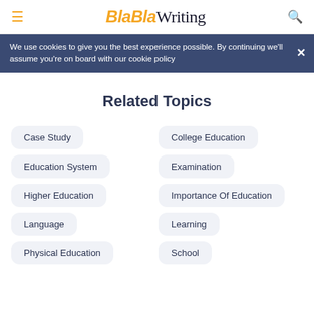BlaBlaWriting
We use cookies to give you the best experience possible. By continuing we'll assume you're on board with our cookie policy
Related Topics
Case Study
College Education
Education System
Examination
Higher Education
Importance Of Education
Language
Learning
Physical Education
School